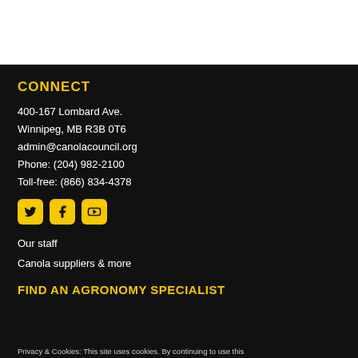CONNECT
400-167 Lombard Ave.
Winnipeg, MB R3B 0T6
admin@canolacouncil.org
Phone: (204) 982-2100
Toll-free: (866) 834-4378
[Figure (other): Social media icons: Twitter, Facebook, YouTube — gold rounded squares]
Our staff
Canola suppliers & more
FIND AN AGRONOMY SPECIALIST
Privacy & Cookies: This site uses cookies. By continuing to use this